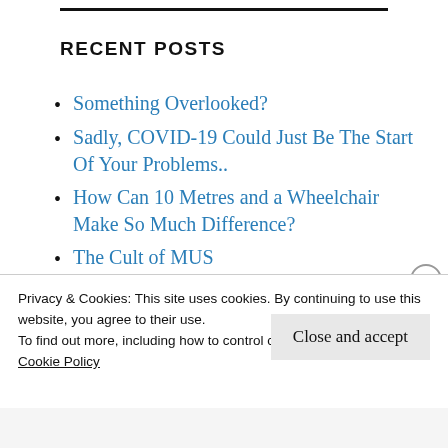RECENT POSTS
Something Overlooked?
Sadly, COVID-19 Could Just Be The Start Of Your Problems..
How Can 10 Metres and a Wheelchair Make So Much Difference?
The Cult of MUS
MUS – International Women's Day
Going Back in Time
Privacy & Cookies: This site uses cookies. By continuing to use this website, you agree to their use.
To find out more, including how to control cookies, see here:
Cookie Policy
Close and accept